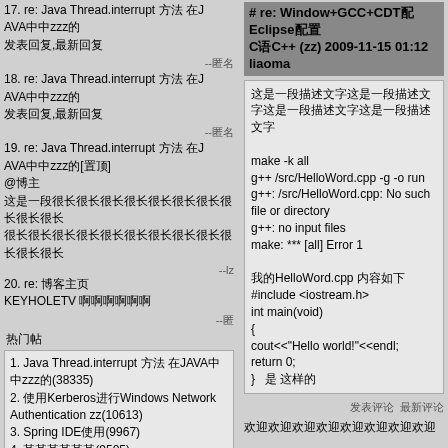17. re: Java Thread.interrupt 方法 在JAVA中AVA中zzz的
发表回复,最新回复
18. re: Java Thread.interrupt 方法 在JAVA中AVA中zzz的
发表回复,最新回复
19. re: Java Thread.interrupt 方法 在JAVA中AVA中zzz的[置顶]
@博主
这是一段很长很长很长很长很长很长很长很长很长很长很长很长很长很长很长的文字
20. re: 博客主页
KEYHOLETV 啊啊啊啊啊啊
热门帖
1. Java Thread.interrupt 方法 在JAVA中JAVA中zzz的(38335)
2. 使用Kerberos进行Windows Network Authentication zz(10613)
3. Spring IDE使用(9967)
4. 某某某某某某(9505)
5. hibernate transaction theory(2)(7572)
6. 某某某某(6805)
7. Spring JDBC DAO使用例子example(6161)
8. 某某某某某某某某(5657)
9. [C++]static成员函数/静态成员函数static的/什么什么什么
# re: Window+GCC+CDT配Eclipse配置C语C++ (zz) 2009-11-15 01:12 liaoma
这是一段描述文字这是一段描述文字这是一段描述文字这是一段描述文字
make -k all
g++ /src/HelloWord.cpp -g -o run
g++: /src/HelloWord.cpp: No such file or directory
g++: no input files
make: *** [all] Error 1
我的HelloWord.cpp 内容如下
#include <iostream.h>
int main(void)
{
cout<<"Hello world!"<<endl;
return 0;
}  是 这样的
发表评论  最新评论
欢迎欢迎欢迎欢迎欢迎欢迎欢迎欢迎